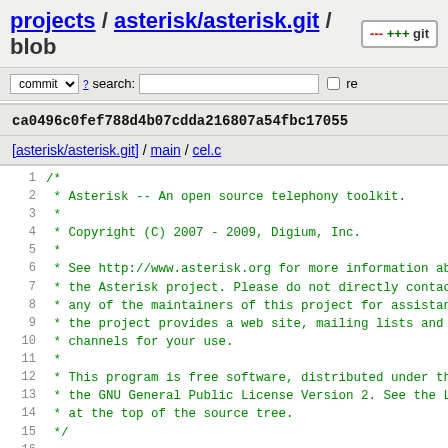projects / asterisk/asterisk.git / blob  +++ git
commit  ? search:   re
ca0496c0fef788d4b07cdda216807a54fbc17055
[asterisk/asterisk.git] / main / cel.c
1  /*
2   * Asterisk -- An open source telephony toolkit.
3   *
4   * Copyright (C) 2007 - 2009, Digium, Inc.
5   *
6   * See http://www.asterisk.org for more information abo
7   * the Asterisk project. Please do not directly contact
8   * any of the maintainers of this project for assistanc
9   * the project provides a web site, mailing lists and l
10  * channels for your use.
11  *
12  * This program is free software, distributed under the
13  * the GNU General Public License Version 2. See the LI
14  * at the top of the source tree.
15  */
16
17  /*!
18   * \file
19   *
20   * \brief Channel Event Logging API
21   *